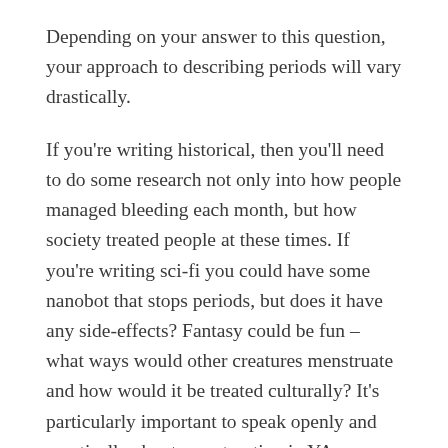Depending on your answer to this question, your approach to describing periods will vary drastically.
If you're writing historical, then you'll need to do some research not only into how people managed bleeding each month, but how society treated people at these times. If you're writing sci-fi you could have some nanobot that stops periods, but does it have any side-effects? Fantasy could be fun – what ways would other creatures menstruate and how would it be treated culturally? It's particularly important to speak openly and practically about menstruation in YA, as your main audience will still be forming opinions about what's happening with their bodies and the bodies of those around them. If you're writing a rom com, where sometimes the ultimate aim is to get busy, then you'll